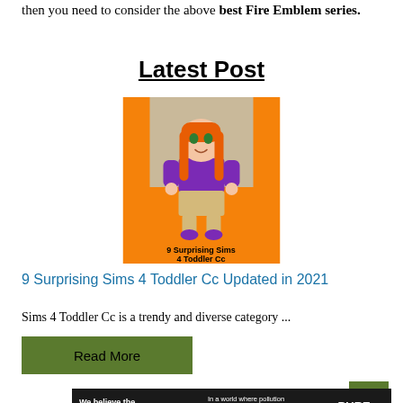then you need to consider the above best Fire Emblem series.
Latest Post
[Figure (illustration): Cartoon illustration of a girl with orange hair wearing a purple top and khaki pants, with text '9 Surprising Sims 4 Toddler Cc Updated in 2021' on an orange background]
9 Surprising Sims 4 Toddler Cc Updated in 2021
Sims 4 Toddler Cc is a trendy and diverse category ...
Read More
[Figure (infographic): Pure Earth advertisement banner: 'We believe the global pollution crisis can be solved.' with Pure Earth logo]